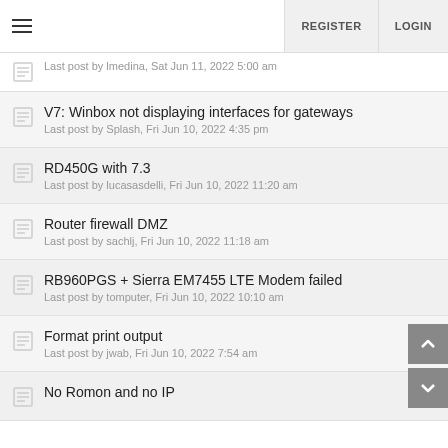REGISTER  LOGIN
Last post by lmedina, Sat Jun 11, 2022 5:00 am
V7: Winbox not displaying interfaces for gateways
Last post by Splash, Fri Jun 10, 2022 4:35 pm
RD450G with 7.3
Last post by lucasasdelli, Fri Jun 10, 2022 11:20 am
Router firewall DMZ
Last post by sachlj, Fri Jun 10, 2022 11:18 am
RB960PGS + Sierra EM7455 LTE Modem failed
Last post by tomputer, Fri Jun 10, 2022 10:10 am
Format print output
Last post by jwab, Fri Jun 10, 2022 7:54 am
No Romon and no IP